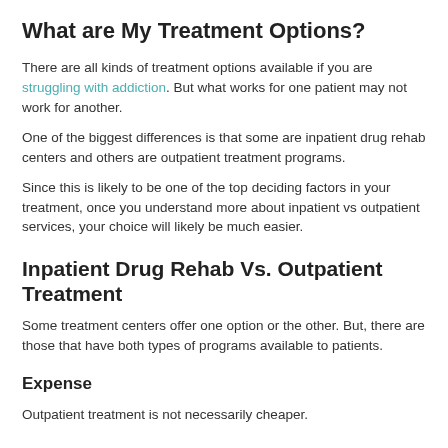What are My Treatment Options?
There are all kinds of treatment options available if you are struggling with addiction. But what works for one patient may not work for another.
One of the biggest differences is that some are inpatient drug rehab centers and others are outpatient treatment programs.
Since this is likely to be one of the top deciding factors in your treatment, once you understand more about inpatient vs outpatient services, your choice will likely be much easier.
Inpatient Drug Rehab Vs. Outpatient Treatment
Some treatment centers offer one option or the other. But, there are those that have both types of programs available to patients.
Expense
Outpatient treatment is not necessarily cheaper.